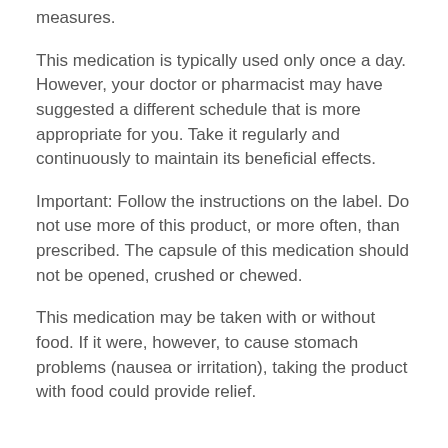measures.
This medication is typically used only once a day. However, your doctor or pharmacist may have suggested a different schedule that is more appropriate for you. Take it regularly and continuously to maintain its beneficial effects.
Important: Follow the instructions on the label. Do not use more of this product, or more often, than prescribed. The capsule of this medication should not be opened, crushed or chewed.
This medication may be taken with or without food. If it were, however, to cause stomach problems (nausea or irritation), taking the product with food could provide relief.
Possible side effects
In addition to its desired action, this medication may